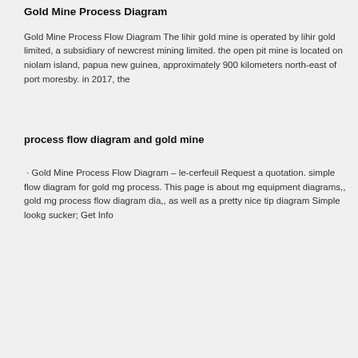Gold Mine Process Diagram
Gold Mine Process Flow Diagram The lihir gold mine is operated by lihir gold limited, a subsidiary of newcrest mining limited. the open pit mine is located on niolam island, papua new guinea, approximately 900 kilometers north-east of port moresby. in 2017, the
process flow diagram and gold mine
· Gold Mine Process Flow Diagram – le-cerfeuil Request a quotation. simple flow diagram for gold mg process. This page is about mg equipment diagrams,, gold mg process flow diagram dia,, as well as a pretty nice tip diagram Simple lookg sucker; Get Info